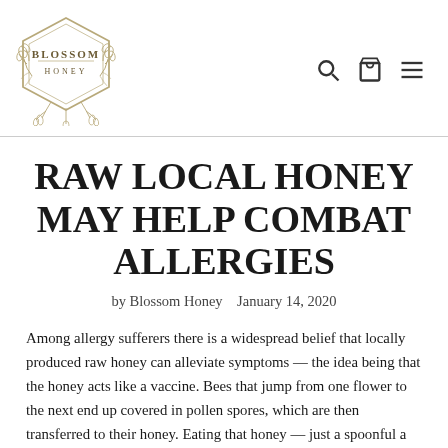[Figure (logo): Blossom Honey logo — hexagon frame with floral illustration and text 'BLOSSOM HONEY']
RAW LOCAL HONEY MAY HELP COMBAT ALLERGIES
by Blossom Honey   January 14, 2020
Among allergy sufferers there is a widespread belief that locally produced raw honey can alleviate symptoms — the idea being that the honey acts like a vaccine. Bees that jump from one flower to the next end up covered in pollen spores, which are then transferred to their honey. Eating that honey — just a spoonful a day — can build up immunity through gradual exposure to the local allergens that can make life a…